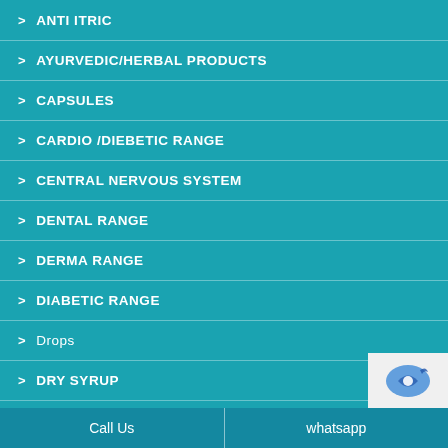> ANTI ITRIC
> AYURVEDIC/HERBAL PRODUCTS
> CAPSULES
> CARDIO /DIEBETIC RANGE
> CENTRAL NERVOUS SYSTEM
> DENTAL RANGE
> DERMA RANGE
> DIABETIC RANGE
> Drops
> DRY SYRUP
> Dusting Powder
Call Us   whatsapp